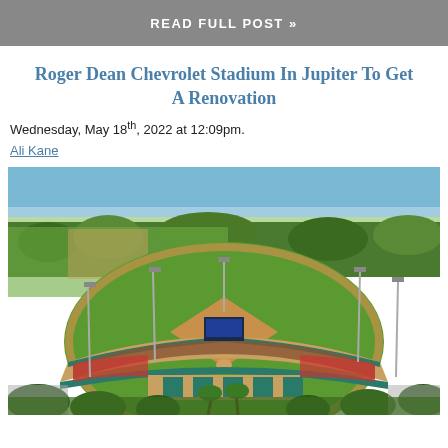READ FULL POST »
Roger Dean Chevrolet Stadium In Jupiter To Get A Renovation
Wednesday, May 18th, 2022 at 12:09pm.
Ali Kane
[Figure (photo): Aerial photograph of Roger Dean Chevrolet Stadium in Jupiter, Florida, showing the baseball diamond, green outfield, teal-roofed stadium structure, surrounding practice fields, parking areas, and lush tree coverage under a blue sky.]